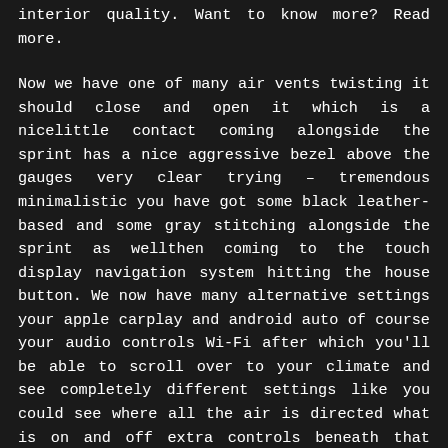interior quality. Want to know more? Read more.
Now we have one of many air vents twisting it should close and open it which is a nicelittle contact coming alongside the sprint has a nice aggressive bezel above the gauges very clear trying – tremendous minimalistic you have got some black leather-based and some gray stitching alongside the sprint as wellthen coming to the touch display navigation system hitting the house button. We now have many alternative settings your apple carplay and android auto of course your audio controls Wi-Fi after which you'll be able to scroll over to your climate and see completely different settings like you could see where all the air is directed what is on and off extra controls beneath that after which all of your local weather controls are located right here really cool really this you spin left and rightand that truly adjustments the temperature you even have an LCD display to correspond to that after which over on the best aspect this is how you alter your fan speed you get a little bit display screen as properly and your research a see all of the completely different buttons your defogger you're the